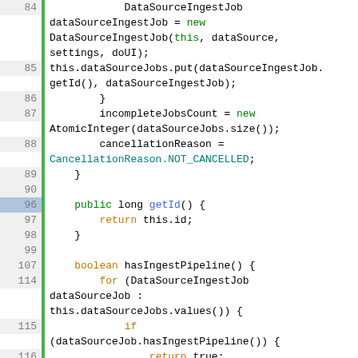[Figure (screenshot): Java source code editor view showing lines 84-131, with syntax highlighting. Line numbers on the left, green vertical separator bar, and code with colored keywords (green for 'new', 'this', orange for 'return', 'for', 'if', 'boolean', 'public', blue for identifier 'getId', teal for 'CancellationReason.NOT_CANCELLED'). The code shows DataSourceIngestJob construction, dataSourceJobs map operations, AtomicInteger, cancellationReason, getId(), hasIngestPipeline(), and start() methods.]